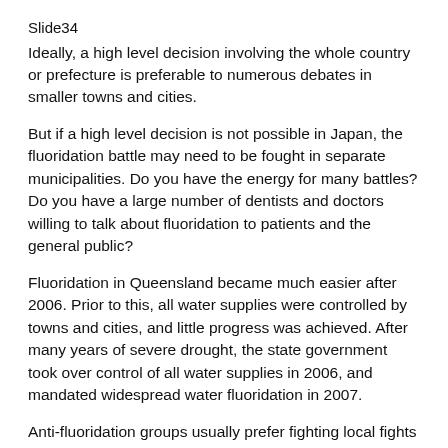Slide34
Ideally, a high level decision involving the whole country or prefecture is preferable to numerous debates in smaller towns and cities.
But if a high level decision is not possible in Japan, the fluoridation battle may need to be fought in separate municipalities. Do you have the energy for many battles? Do you have a large number of dentists and doctors willing to talk about fluoridation to patients and the general public?
Fluoridation in Queensland became much easier after 2006. Prior to this, all water supplies were controlled by towns and cities, and little progress was achieved. After many years of severe drought, the state government took over control of all water supplies in 2006, and mandated widespread water fluoridation in 2007.
Anti-fluoridation groups usually prefer fighting local fights because most local councils don't have public health expertise. Anti-fluoridation groups bring all their resources from around the world to that area and overwhelm the local health professionals